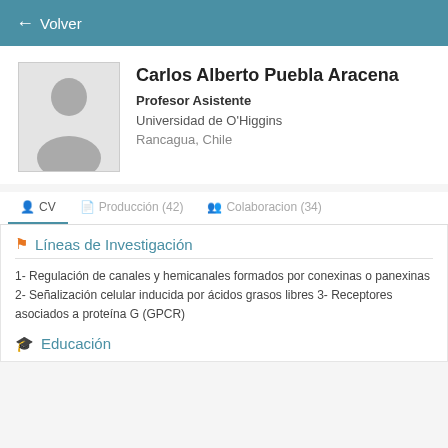← Volver
Carlos Alberto Puebla Aracena
Profesor Asistente
Universidad de O'Higgins
Rancagua, Chile
CV  |  Producción (42)  |  Colaboracion (34)
Líneas de Investigación
1- Regulación de canales y hemicanales formados por conexinas o panexinas 2- Señalización celular inducida por ácidos grasos libres 3- Receptores asociados a proteína G (GPCR)
Educación